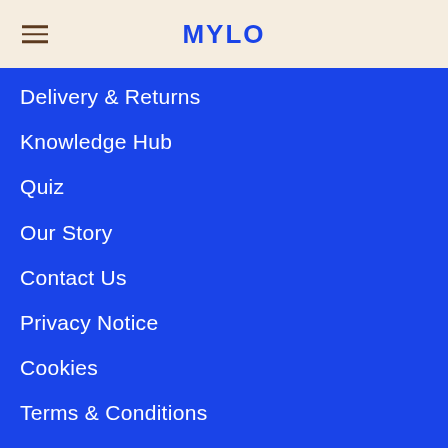MYLO
Delivery & Returns
Knowledge Hub
Quiz
Our Story
Contact Us
Privacy Notice
Cookies
Terms & Conditions